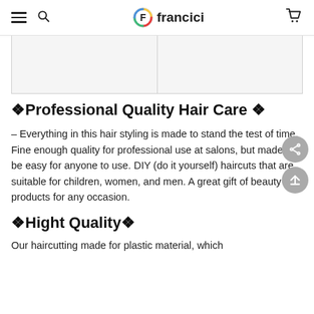francici
[Figure (photo): Two-panel product image placeholder grid, light gray background]
✦Professional Quality Hair Care ✦
– Everything in this hair styling is made to stand the test of time. Fine enough quality for professional use at salons, but made to be easy for anyone to use. DIY (do it yourself) haircuts that are suitable for children, women, and men. A great gift of beauty products for any occasion.
✦Hight Quality✦
Our haircutting made for plastic material, which